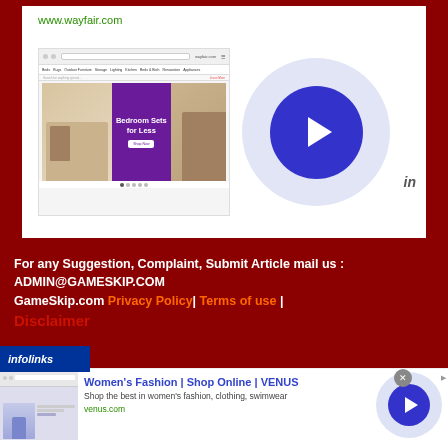[Figure (screenshot): Wayfair website screenshot showing bedroom sets banner with purple background, navigation bar, and search bar. URL shows www.wayfair.com]
[Figure (other): Large circular play button with dark blue inner circle and light blue/lavender outer ring]
For any Suggestion, Complaint, Submit Article mail us : ADMIN@GAMESKIP.COM
GameSkip.com Privacy Policy| Terms of use | Disclaimer
[Figure (screenshot): Ad: Women's Fashion | Shop Online | VENUS. Shop the best in women's fashion, clothing, swimwear. venus.com]